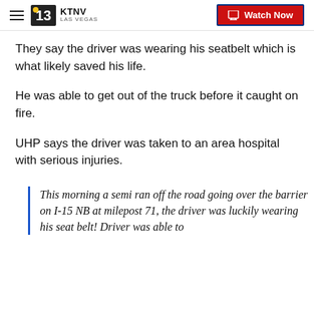KTNV LAS VEGAS | Watch Now
They say the driver was wearing his seatbelt which is what likely saved his life.
He was able to get out of the truck before it caught on fire.
UHP says the driver was taken to an area hospital with serious injuries.
This morning a semi ran off the road going over the barrier on I-15 NB at milepost 71, the driver was luckily wearing his seat belt! Driver was able to